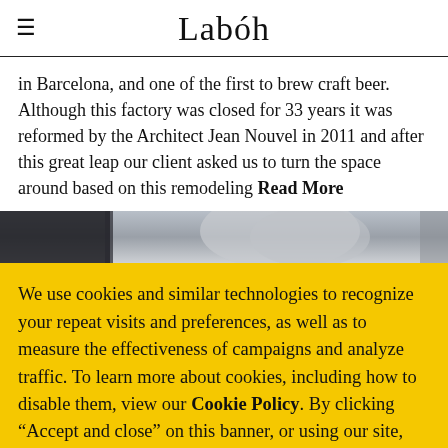Labóh
in Barcelona, and one of the first to brew craft beer. Although this factory was closed for 33 years it was reformed by the Architect Jean Nouvel in 2011 and after this great leap our client asked us to turn the space around based on this remodeling Read More
[Figure (photo): Partial view of architectural photo strip showing metallic/industrial structural elements]
We use cookies and similar technologies to recognize your repeat visits and preferences, as well as to measure the effectiveness of campaigns and analyze traffic. To learn more about cookies, including how to disable them, view our Cookie Policy. By clicking "Accept and close" on this banner, or using our site, you consent to the use of cookies unless you have disabled them. Accept and close.